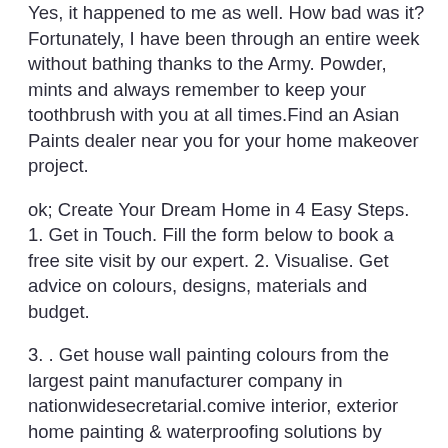Yes, it happened to me as well. How bad was it? Fortunately, I have been through an entire week without bathing thanks to the Army. Powder, mints and always remember to keep your toothbrush with you at all times.Find an Asian Paints dealer near you for your home makeover project.
ok; Create Your Dream Home in 4 Easy Steps. 1. Get in Touch. Fill the form below to book a free site visit by our expert. 2. Visualise. Get advice on colours, designs, materials and budget.
3. . Get house wall painting colours from the largest paint manufacturer company in nationwidesecretarial.comive interior, exterior home painting & waterproofing solutions by Asian Paints.
This service is currently not available in your area. Find an Asian Paints dealer near you for your home makeover project. ok. How we work? Matchless transparency in wall